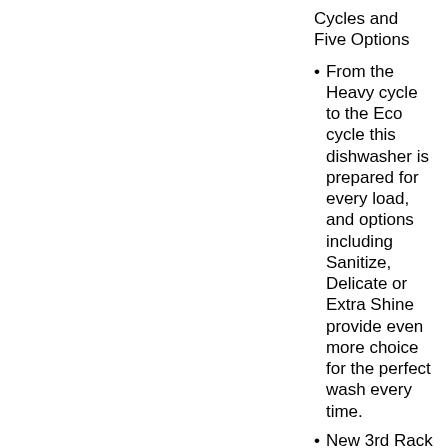Cycles and Five Options
From the Heavy cycle to the Eco cycle this dishwasher is prepared for every load, and options including Sanitize, Delicate or Extra Shine provide even more choice for the perfect wash every time.
New 3rd Rack for Added Versatility